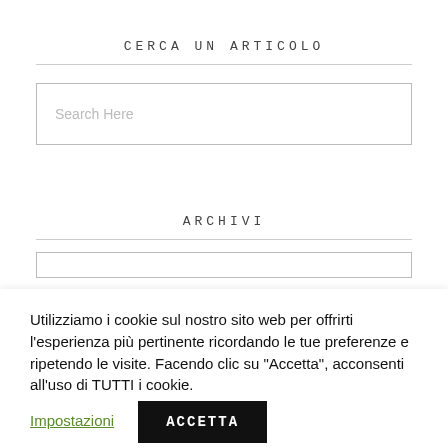CERCA UN ARTICOLO
Search Here
ARCHIVI
Utilizziamo i cookie sul nostro sito web per offrirti l'esperienza più pertinente ricordando le tue preferenze e ripetendo le visite. Facendo clic su "Accetta", acconsenti all'uso di TUTTI i cookie.
Impostazioni
ACCETTA